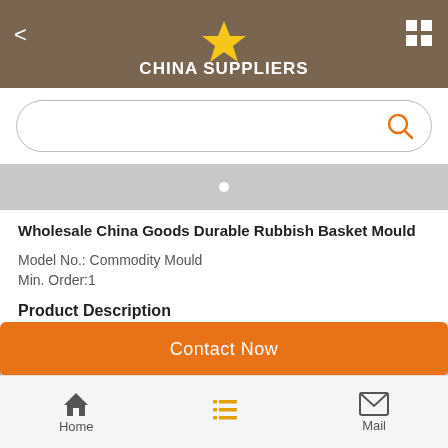CHINA SUPPLIERS
[Figure (screenshot): Search bar with orange search icon]
[Figure (screenshot): Gray slider/carousel bar with white dot indicator]
Wholesale China Goods Durable Rubbish Basket Mould
Model No.: Commodity Mould
Min. Order:1
Product Description
| Name | Commodity Mould |
| mould material | 45#,P20,718,2738 etc. |
[Figure (screenshot): Orange Contact Now button]
Home   Mail